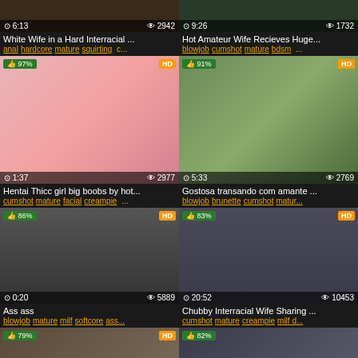[Figure (screenshot): Video thumbnail top-left with time 6:13 and 2942 views]
[Figure (screenshot): Video thumbnail top-right with time 9:26 and 1732 views]
White Wife in a Hard Interracial ...
Hot Amateur Wife Recieves Huge...
anal hardcore mature squirting c...
blowjob cumshot mature bdsm ...
[Figure (screenshot): Hentai video thumbnail 97% HD 1:37 2977 views]
[Figure (screenshot): Video thumbnail 91% HD 5:33 2769 views]
Hentai Thicc girl big boobs by hot...
Gostosa transando com amante ...
cumshot mature facial creampie ...
blowjob brunette cumshot matur...
[Figure (screenshot): Video thumbnail 86% HD 0:20 5889 views]
[Figure (screenshot): Video thumbnail 83% HD 20:52 10453 views]
Ass ass
Chubby Interracial Wife Sharing ...
blowjob mature milf softcore ass...
cumshot mature creampie milf d...
[Figure (screenshot): Video thumbnail bottom-left 79% HD partial]
[Figure (screenshot): Video thumbnail bottom-right 82% partial]